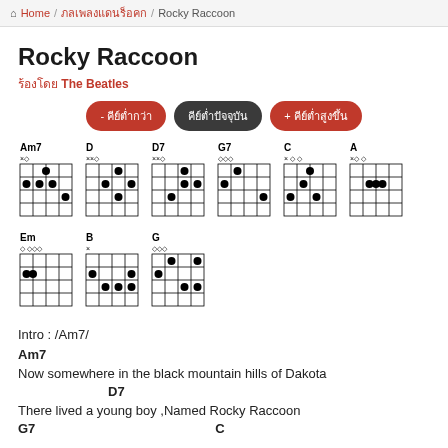Home / [Thai text] / Rocky Raccoon
Rocky Raccoon
[Thai text] The Beatles
- [Thai text]   [Thai text]   + [Thai text]
[Figure (other): Guitar chord diagrams for Am7, D, D7, G7, C, A, Em, B, G]
Intro : /Am7/
Am7
Now somewhere in the black mountain hills of Dakota
                D7
There lived a young boy ,Named Rocky Raccoon
G7                              C